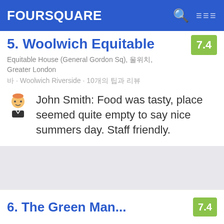FOURSQUARE
5. Woolwich Equitable
Equitable House (General Gordon Sq), 울위치, Greater London
바 · Woolwich Riverside · 10개의 팁과 리뷰
John Smith: Food was tasty, place seemed quite empty to say nice summers day. Staff friendly.
[Figure (photo): Interior photo showing an ornate decorative architectural element - a dark velvet curtain with golden scrollwork and floral motif trim in a theater or similar venue]
6. The Green Man...